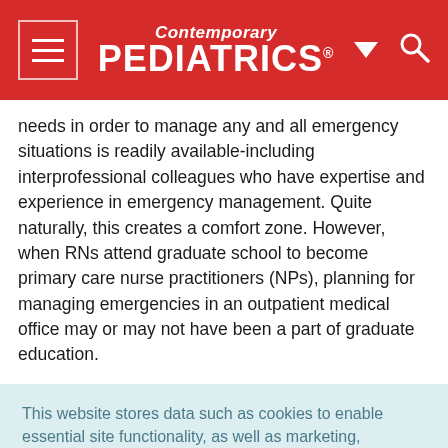Contemporary PEDIATRICS
needs in order to manage any and all emergency situations is readily available-including interprofessional colleagues who have expertise and experience in emergency management. Quite naturally, this creates a comfort zone. However, when RNs attend graduate school to become primary care nurse practitioners (NPs), planning for managing emergencies in an outpatient medical office may or may not have been a part of graduate education.
This website stores data such as cookies to enable essential site functionality, as well as marketing, personalization, and analytics. Cookie Policy
Accept
Deny